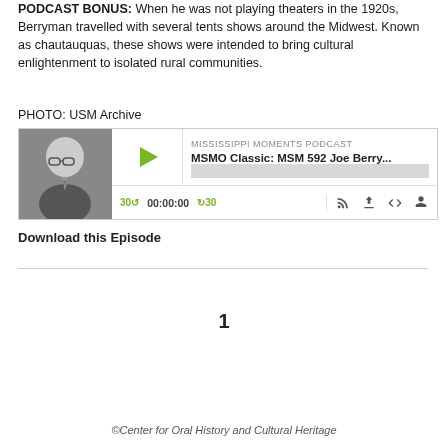PODCAST BONUS: When he was not playing theaters in the 1920s, Berryman travelled with several tents shows around the Midwest. Known as chautauquas, these shows were intended to bring cultural enlightenment to isolated rural communities.
PHOTO: USM Archive
[Figure (screenshot): Podcast player widget for Mississippi Moments Podcast episode 'MSMO Classic: MSM 592 Joe Berry...' with play button, progress bar, time controls showing 00:00:00, and playback icons.]
Download this Episode
1
©Center for Oral History and Cultural Heritage